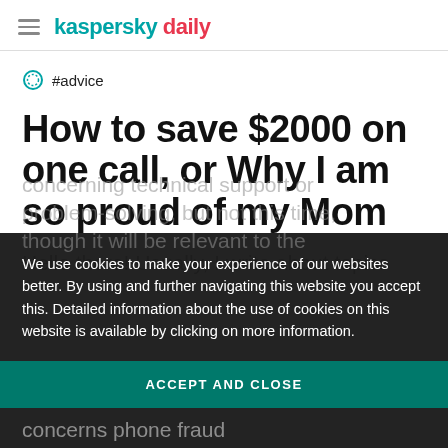kaspersky daily
#advice
How to save $2000 on one call, or Why I am so proud of my Mom
Hello there! Usually, I write about topics concerning technical support or problem-solving, but not this time, though it will be relevant to the concerns phone fraud
We use cookies to make your experience of our websites better. By using and further navigating this website you accept this. Detailed information about the use of cookies on this website is available by clicking on more information.
ACCEPT AND CLOSE